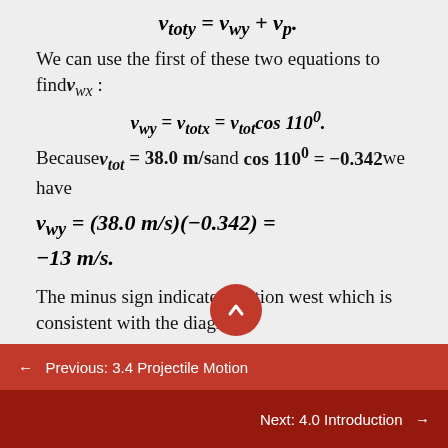We can use the first of these two equations to find v_wx:
Because v_tot = 38.0 m/s and cos 110^0 = -0.342 we have
The minus sign indicates motion west which is consistent with the diagram.
← Previous: 3.4 Projectile Motion
Next: 4.0 Introduction →